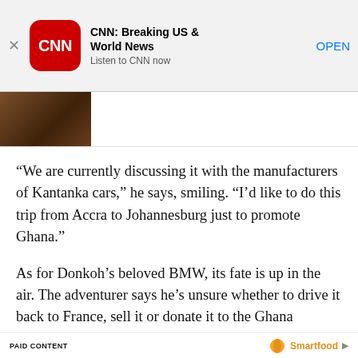[Figure (screenshot): CNN app install banner with CNN logo, title 'CNN: Breaking US & World News', subtitle 'Listen to CNN now', and OPEN button. Close X on the left.]
[Figure (photo): Partial image of a dark brown object on a surface, likely a car or wooden item.]
“We are currently discussing it with the manufacturers of Kantanka cars,” he says, smiling. “I’d like to do this trip from Accra to Johannesburg just to promote Ghana.”
As for Donkoh’s beloved BMW, its fate is up in the air. The adventurer says he’s unsure whether to drive it back to France, sell it or donate it to the Ghana Museum.
PAID CONTENT